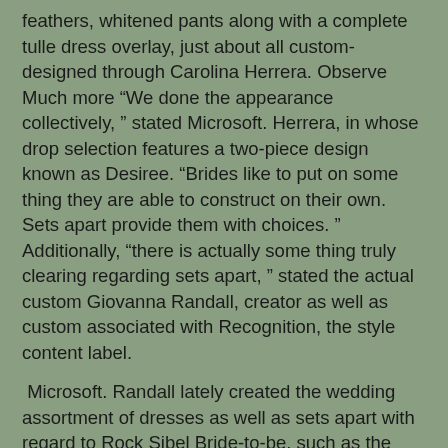feathers, whitened pants along with a complete tulle dress overlay, just about all custom-designed through Carolina Herrera. Observe Much more “We done the appearance collectively, ” stated Microsoft. Herrera, in whose drop selection features a two-piece design known as Desiree. “Brides like to put on some thing they are able to construct on their own. Sets apart provide them with choices. ” Additionally, “there is actually some thing truly clearing regarding sets apart, ” stated the actual custom Giovanna Randall, creator as well as custom associated with Recognition, the style content label.
Microsoft. Randall lately created the wedding assortment of dresses as well as sets apart with regard to Rock Sibel Bride-to-be, such as the Astrid, having a man made fiber faille cropped best as well as maxi dress. “I such as the thought of the assured bride-to-be which doesn’t have to put on the gown that’s a silhouette of the cookie-cutter form, ” your woman stated. Wishesbridal’s self-confidence, particularly, offers remaining a brand new impact. “I really was amazed which somebody because extravagant because she’s might choose this type of easy undertake a marriage